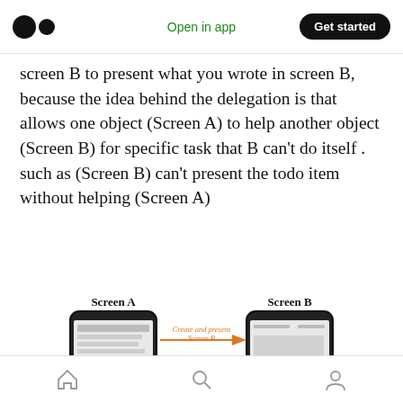Open in app | Get started
screen B to present what you wrote in screen B, because the idea behind the delegation is that allows one object (Screen A) to help another object (Screen B) for specific task that B can't do itself . such as (Screen B) can't present the todo item without helping (Screen A)
[Figure (illustration): Diagram showing Screen A (a phone with a todo list) and Screen B (a phone with a text input/keyboard). Arrows indicate: 'Create and present Screen B' from A to B, 'B.delegate = A' from B to A, and 'Send message to delegate' from B to A's 'Delegate methods' box (dotted outline).]
Home | Search | Profile